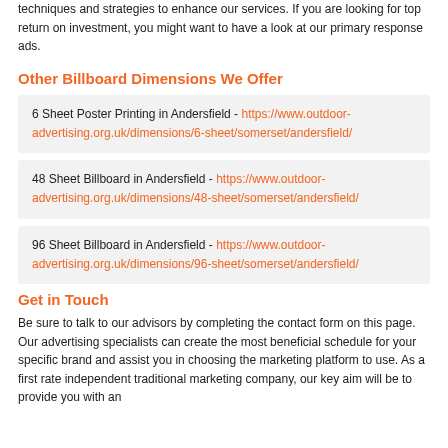techniques and strategies to enhance our services. If you are looking for top return on investment, you might want to have a look at our primary response ads.
Other Billboard Dimensions We Offer
6 Sheet Poster Printing in Andersfield - https://www.outdoor-advertising.org.uk/dimensions/6-sheet/somerset/andersfield/
48 Sheet Billboard in Andersfield - https://www.outdoor-advertising.org.uk/dimensions/48-sheet/somerset/andersfield/
96 Sheet Billboard in Andersfield - https://www.outdoor-advertising.org.uk/dimensions/96-sheet/somerset/andersfield/
Get in Touch
Be sure to talk to our advisors by completing the contact form on this page. Our advertising specialists can create the most beneficial schedule for your specific brand and assist you in choosing the marketing platform to use. As a first rate independent traditional marketing company, our key aim will be to provide you with an